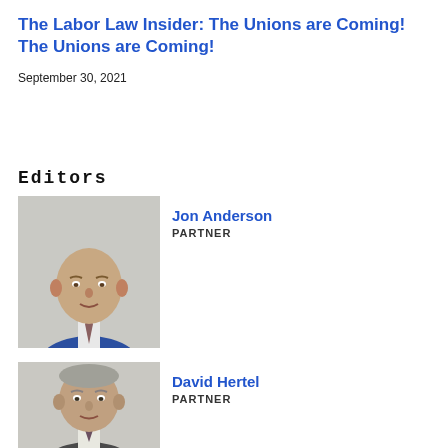The Labor Law Insider: The Unions are Coming! The Unions are Coming!
September 30, 2021
Editors
[Figure (photo): Headshot of Jon Anderson, a bald man in a blue suit with a tie, professional portrait]
Jon Anderson
PARTNER
[Figure (photo): Headshot of David Hertel, a man with grey/brown hair in a suit, professional portrait, partially cropped at bottom]
David Hertel
PARTNER